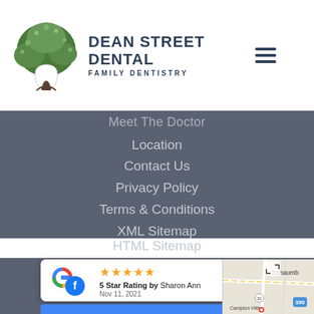[Figure (logo): Dean Street Dental Family Dentistry logo with tree and tooth icon]
[Figure (other): Hamburger menu icon (three horizontal lines)]
Meet The Doctor
Location
Contact Us
Privacy Policy
Terms & Conditions
XML Sitemap
HTML Sitemap
[Figure (screenshot): Google/Facebook review widget showing 5 Star Rating by Sharon Ann, Nov 11, 2021, with More link and Close button, plus Click Here to leave us a review button]
[Figure (map): Google Maps thumbnail showing Schaumburg area with route 390 and 31, Campton Hills label visible]